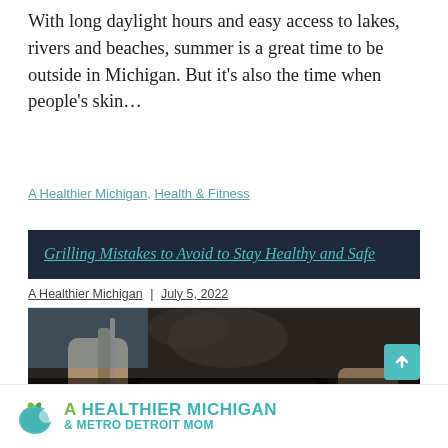With long daylight hours and easy access to lakes, rivers and beaches, summer is a great time to be outside in Michigan. But it's also the time when people's skin...
A Healthier Michigan, Health & Fitness
Grilling Mistakes to Avoid to Stay Healthy and Safe
A Healthier Michigan | July 5, 2022
[Figure (photo): A person using tongs to handle meat on a dark outdoor grill, with smoke visible. Overlay text reads 'Grilling Mistakes to Avoid to Stay Healthy and Safe'.]
[Figure (logo): A Healthier Michigan logo with a green apple icon and text reading 'A HEALTHIER MICHIGAN & METRO DETROIT MOM']